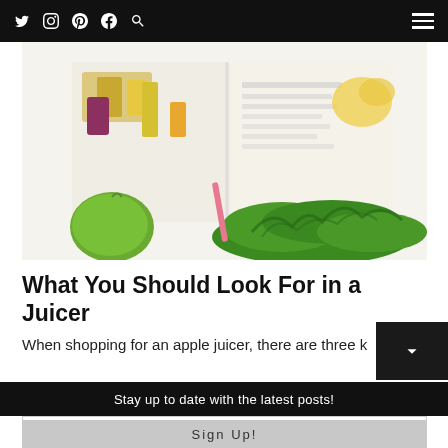Navigation bar with Twitter, Instagram, Pinterest, Facebook, Search icons and hamburger menu
[Figure (photo): Overhead view of an open recipe book surrounded by colorful juice glasses (purple, yellow, green), a green apple, and fresh kale/herbs on a white surface]
What You Should Look For in a Juicer
When shopping for an apple juicer, there are three k
Stay up to date with the latest posts!
Email address..
Sign Up!